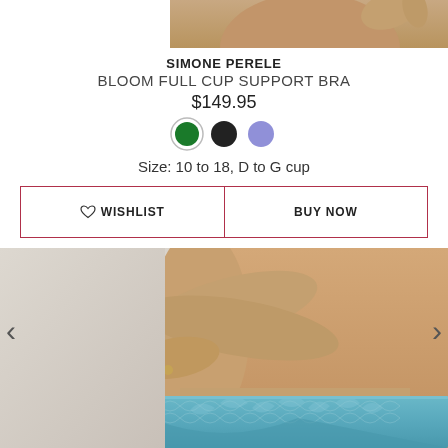[Figure (photo): Cropped photo of a model's torso from mid-chest to above hips, light background]
SIMONE PERELE
BLOOM FULL CUP SUPPORT BRA
$149.95
[Figure (illustration): Three color swatches: green (selected with ring), black, lavender/periwinkle]
Size: 10 to 18, D to G cup
♡ WISHLIST
BUY NOW
[Figure (photo): Model wearing blue/teal lace underwear, arms crossed over torso, cropped from hips to mid-abdomen]
<
>